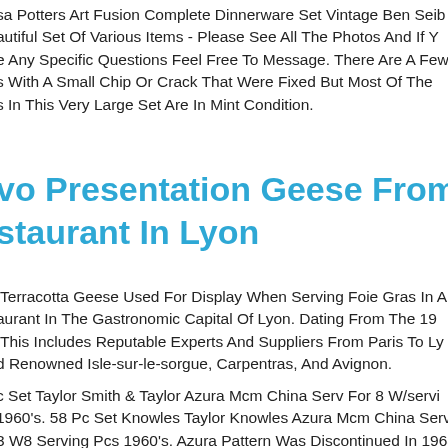sa Potters Art Fusion Complete Dinnerware Set Vintage Ben Seib autiful Set Of Various Items - Please See All The Photos And If Y e Any Specific Questions Feel Free To Message. There Are A Few s With A Small Chip Or Crack That Were Fixed But Most Of The s In This Very Large Set Are In Mint Condition.
vo Presentation Geese From A Frenc staurant In Lyon
Terracotta Geese Used For Display When Serving Foie Gras In A aurant In The Gastronomic Capital Of Lyon. Dating From The 19 This Includes Reputable Experts And Suppliers From Paris To Ly d Renowned Isle-sur-le-sorgue, Carpentras, And Avignon.
c Set Taylor Smith & Taylor Azura Mcm China Serv For 8 W/servi 1960's. 58 Pc Set Knowles Taylor Knowles Azura Mcm China Serv 3 W8 Serving Pcs 1960's. Azura Pattern Was Discontinued In 1968